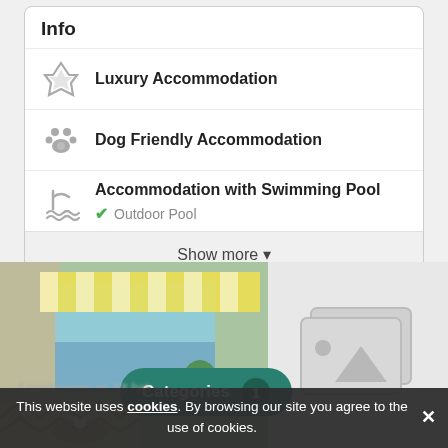Info
Luxury Accommodation
Dog Friendly Accommodation
Accommodation with Swimming Pool
Outdoor Pool
Show more
[Figure (photo): Interior hotel room with sea view, yellow striped awning, plants, and decorative furniture]
[Figure (other): Image placeholder icon (stacked photos placeholder)]
Categories 1
This website uses cookies. By browsing our site you agree to the use of cookies.
Apartments in St Ive...